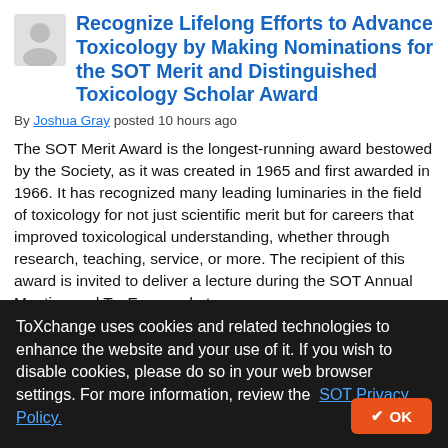Recognize Lifelong Efforts to Advance Toxicology by Making Nominations for the SOT Merit and Distinguished Toxicology Scholar Award
By Joshua Gray posted 10 hours ago
The SOT Merit Award is the longest-running award bestowed by the Society, as it was created in 1965 and first awarded in 1966. It has recognized many leading luminaries in the field of toxicology for not just scientific merit but for careers that improved toxicological understanding, whether through research, teaching, service, or more. The recipient of this award is invited to deliver a lecture during the SOT Annual Meeting and ToxExpo and at
ToXchange uses cookies and related technologies to enhance the website and your use of it. If you wish to disable cookies, please do so in your web browser settings. For more information, review the SOT Privacy Policy.